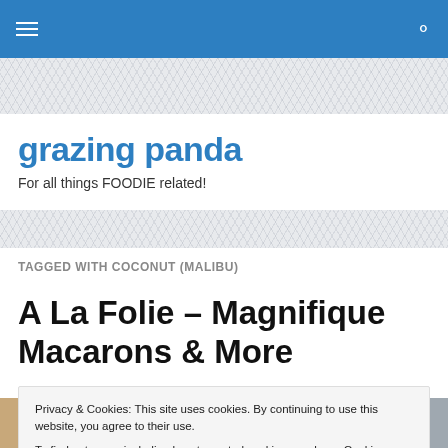grazing panda — navigation bar
grazing panda
For all things FOODIE related!
TAGGED WITH COCONUT (MALIBU)
A La Folie – Magnifique Macarons & More
Privacy & Cookies: This site uses cookies. By continuing to use this website, you agree to their use.
To find out more, including how to control cookies, see here: Cookie Policy
[Figure (photo): Three food photos at the bottom of the page]